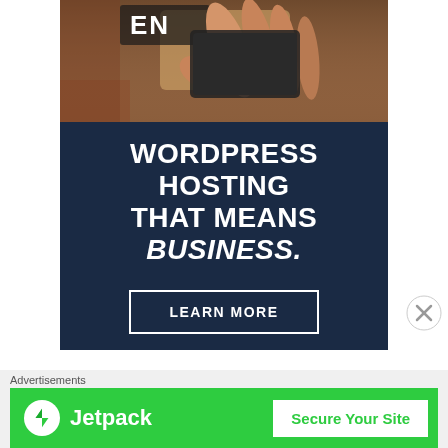[Figure (photo): Person holding a credit card or business card near an 'OPEN' sign, close-up photo with warm tones]
WORDPRESS HOSTING THAT MEANS BUSINESS.
LEARN MORE
[Figure (other): Close (X) button overlay]
Advertisements
[Figure (logo): Jetpack advertisement banner with lightning bolt icon and 'Secure Your Site' button on green background]